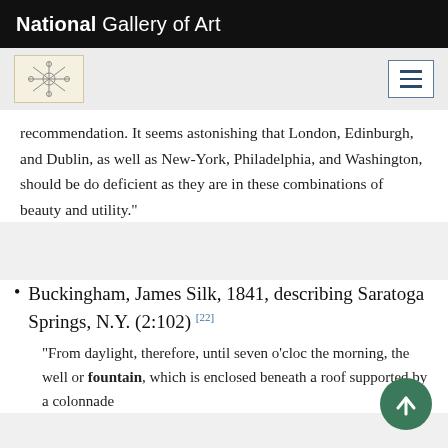National Gallery of Art
recommendation. It seems astonishing that London, Edinburgh, and Dublin, as well as New-York, Philadelphia, and Washington, should be do deficient as they are in these combinations of beauty and utility."
Buckingham, James Silk, 1841, describing Saratoga Springs, N.Y. (2:102) [22]
"From daylight, therefore, until seven o'clock the morning, the well or fountain, which is enclosed beneath a roof supported by a colonnade